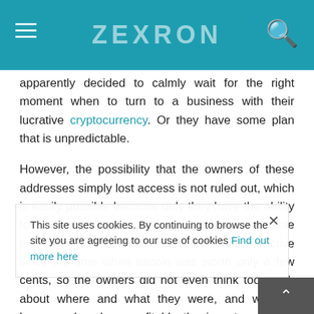ZEXRON
apparently decided to calmly wait for the right moment when to turn to a business with their lucrative cryptocurrency. Or they have some plan that is unpredictable.
However, the possibility that the owners of these addresses simply lost access is not ruled out, which is easily possible because only they have the ability to connect to their digital wallet. It is also possible that some of these addresses have been inactive since the time when bitcoin was worth only a few cents, so the owners did not even think too much about where and what they were, and when it became clear how profitable the investment was, they no longer knew how to access immense wealth.
This site uses cookies. By continuing to browse the site you are agreeing to our use of cookies Find out more here